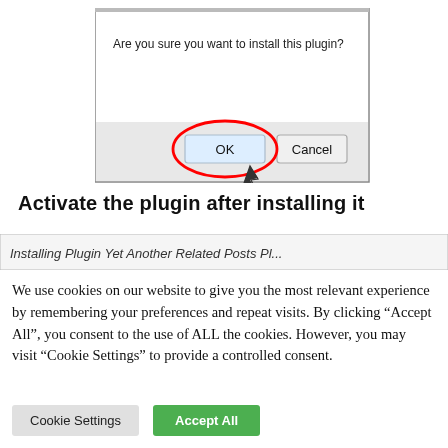[Figure (screenshot): A Windows-style dialog box with the text 'Are you sure you want to install this plugin?' and two buttons: OK (highlighted with a red circle annotation and a mouse cursor pointing at it) and Cancel.]
Activate the plugin after installing it
[Figure (screenshot): Partial screenshot showing the top of a table or navigation bar with partially visible text: 'Installing Plugin Yet Another Related Posts Pl...']
We use cookies on our website to give you the most relevant experience by remembering your preferences and repeat visits. By clicking "Accept All", you consent to the use of ALL the cookies. However, you may visit "Cookie Settings" to provide a controlled consent.
Cookie Settings   Accept All